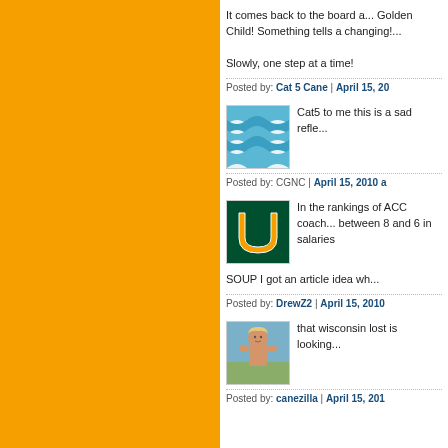It comes back to the board a... Golden Child! Something tells a changing!...
Slowly, one step at a time!
Posted by: Cat 5 Cane | April 15, 20...
[Figure (photo): Blue wave avatar icon]
Cat5 to me this is a sad refle...
Posted by: CGNC | April 15, 2010 a...
[Figure (logo): University of Miami Hurricanes logo on green background]
In the rankings of ACC coach... between 8 and 6 in salaries
SOUP I got an article idea wh...
Posted by: DrewZ2 | April 15, 2010...
[Figure (photo): Young child photo avatar]
that wisconsin lost is looking...
Posted by: canezilla | April 15, 201...